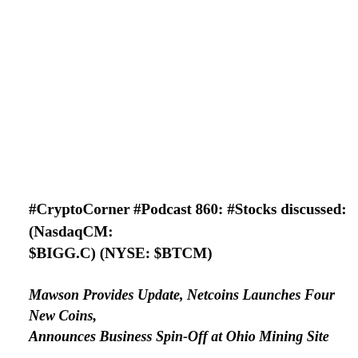#CryptoCorner #Podcast 860: #Stocks discussed: (NasdaqCM: $BIGG.C) (NYSE: $BTCM)
Mawson Provides Update, Netcoins Launches Four New Coins, Announces Business Spin-Off at Ohio Mining Site